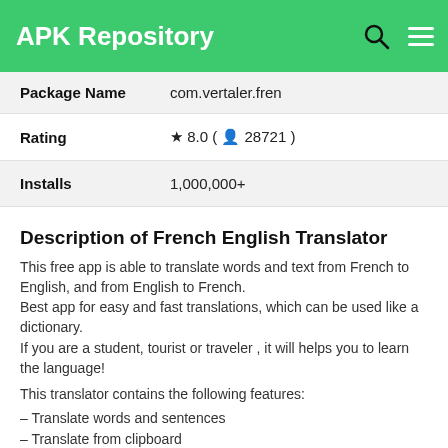APK Repository
| Package Name | com.vertaler.fren |
| Rating | ★ 8.0 ( 👤 28721 ) |
| Installs | 1,000,000+ |
Description of French English Translator
This free app is able to translate words and text from French to English, and from English to French.
Best app for easy and fast translations, which can be used like a dictionary.
If you are a student, tourist or traveler , it will helps you to learn the language!
This translator contains the following features:
– Translate words and sentences
– Translate from clipboard
– Simple and user-friendly interface
– Instant search